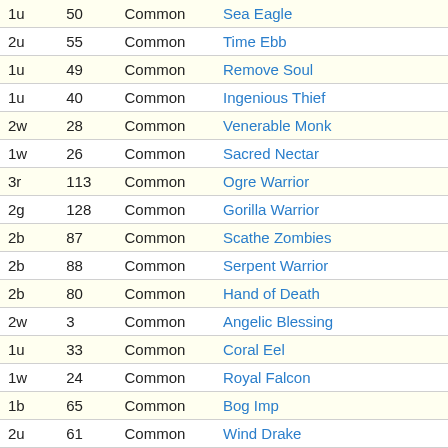|  |  | Common |  |
| --- | --- | --- | --- |
| 1u | 50 | Common | Sea Eagle |
| 2u | 55 | Common | Time Ebb |
| 1u | 49 | Common | Remove Soul |
| 1u | 40 | Common | Ingenious Thief |
| 2w | 28 | Common | Venerable Monk |
| 1w | 26 | Common | Sacred Nectar |
| 3r | 113 | Common | Ogre Warrior |
| 2g | 128 | Common | Gorilla Warrior |
| 2b | 87 | Common | Scathe Zombies |
| 2b | 88 | Common | Serpent Warrior |
| 2b | 80 | Common | Hand of Death |
| 2w | 3 | Common | Angelic Blessing |
| 1u | 33 | Common | Coral Eel |
| 1w | 24 | Common | Royal Falcon |
| 1b | 65 | Common | Bog Imp |
| 2u | 61 | Common | Wind Drake |
| 4g | 127 | Common | Durkwood Boars |